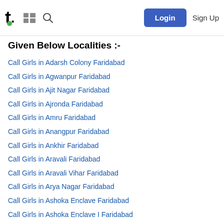t. [grid icon] [search icon] Login Sign Up
Given Below Localities :-
Call Girls in Adarsh Colony Faridabad
Call Girls in Agwanpur Faridabad
Call Girls in Ajit Nagar Faridabad
Call Girls in Ajronda Faridabad
Call Girls in Amru Faridabad
Call Girls in Anangpur Faridabad
Call Girls in Ankhir Faridabad
Call Girls in Aravali Faridabad
Call Girls in Aravali Vihar Faridabad
Call Girls in Arya Nagar Faridabad
Call Girls in Ashoka Enclave Faridabad
Call Girls in Ashoka Enclave I Faridabad
Call Girls in Ashoka Enclave II Faridabad
Call Girls in Ashoka Enclave III Faridabad